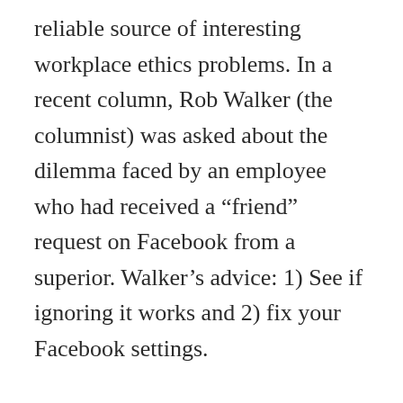reliable source of interesting workplace ethics problems. In a recent column, Rob Walker (the columnist) was asked about the dilemma faced by an employee who had received a “friend” request on Facebook from a superior. Walker’s advice: 1) See if ignoring it works and 2) fix your Facebook settings.
It is unethical for a manager, boss or superior to “friend” a subordinate, and I